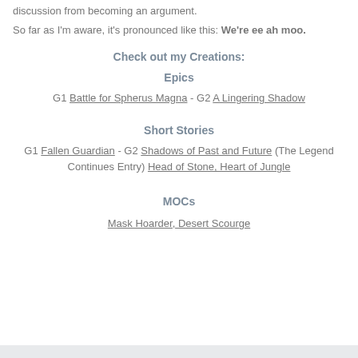discussion from becoming an argument.
So far as I'm aware, it's pronounced like this: We're ee ah moo.
Check out my Creations:
Epics
G1 Battle for Spherus Magna - G2 A Lingering Shadow
Short Stories
G1 Fallen Guardian - G2 Shadows of Past and Future (The Legend Continues Entry) Head of Stone, Heart of Jungle
MOCs
Mask Hoarder, Desert Scourge